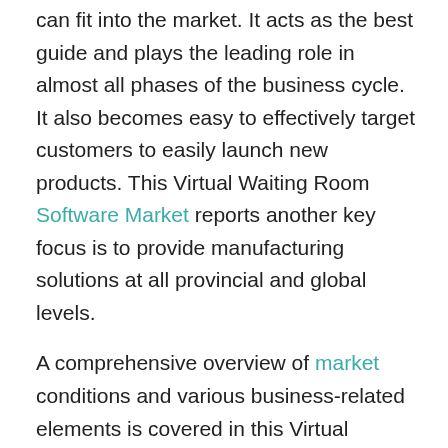can fit into the market. It acts as the best guide and plays the leading role in almost all phases of the business cycle. It also becomes easy to effectively target customers to easily launch new products. This Virtual Waiting Room Software Market reports another key focus is to provide manufacturing solutions at all provincial and global levels.
A comprehensive overview of market conditions and various business-related elements is covered in this Virtual Waiting Room Software market research report. It enables business actors to reach target groups and provides all important details about customers and competitors.